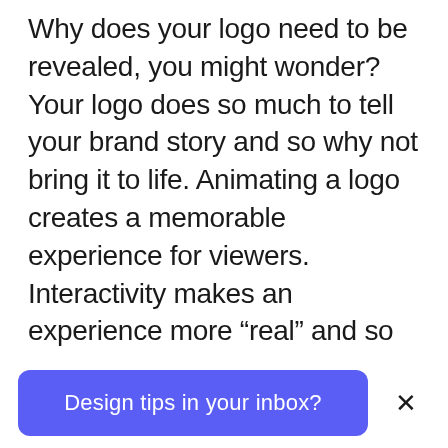Why does your logo need to be revealed, you might wonder? Your logo does so much to tell your brand story and so why not bring it to life. Animating a logo creates a memorable experience for viewers. Interactivity makes an experience more “real” and so something that we’re more likely to attach to, which is why so much digital content is currently shifting towards animation and video. Think about social media, the rise of ‘stories’ across platforms, GIFs and TikTok.

Animating your logo with a creative logo
Design tips in your inbox?